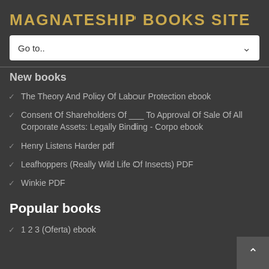MAGNATESHIP BOOKS SITE
[Figure (screenshot): Dropdown navigation selector showing 'Go to..' with a chevron down arrow]
New books
The Theory And Policy Of Labour Protection ebook
Consent Of Shareholders Of ___ To Approval Of Sale Of All Corporate Assets: Legally Binding - Corpo ebook
Henry Listens Harder pdf
Leafhoppers (Really Wild Life Of Insects) PDF
Winkie PDF
Popular books
1 2 3 (Oferta) ebook